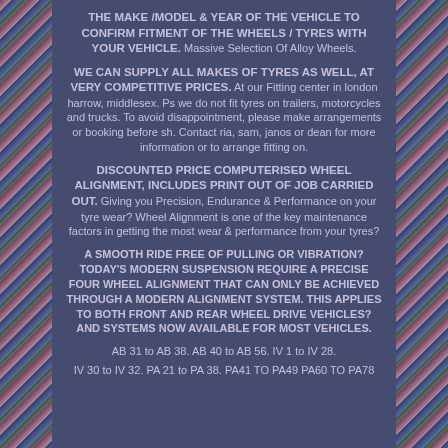THE MAKE /MODEL & YEAR OF THE VEHICLE TO CONFIRM FITMENT OF THE WHEELS / TYRES WITH YOUR VEHICLE. Massive Selection Of Alloy Wheels.
WE CAN SUPPLY ALL MAKES OF TYRES AS WELL, AT VERY COMPETITIVE PRICES. At our Fitting center in london harrow, middlesex. Ps we do not fit tyres on trailers, motorcycles and trucks. To avoid disappointment, please make arrangements or booking before sh. Contact ria, sam, janos or dean for more information or to arrange fitting on.
DISCOUNTED PRICE COMPUTERISED WHEEL ALIGNMENT, INCLUDES PRINT OUT OF JOB CARRIED OUT. Giving you Precision, Endurance & Performance on your tyre wear? Wheel Alignment is one of the key maintenance factors in getting the most wear & performance from your tyres?
A SMOOTH RIDE FREE OF PULLING OR VIBRATION? TODAY'S MODERN SUSPENSION REQUIRE A PRECISE FOUR WHEEL ALIGNMENT THAT CAN ONLY BE ACHIEVED THROUGH A MODERN ALIGNMENT SYSTEM. THIS APPLIES TO BOTH FRONT AND REAR WHEEL DRIVE VEHICLES? AND SYSTEMS NOW AVAILABLE FOR MOST VEHICLES.
AB 31 to AB 38. AB 40 to AB 56. IV 1 to IV 28.
IV 30 to IV 32. PA 21 to PA 38. PA41 TO PA49 PA60 TO PA78